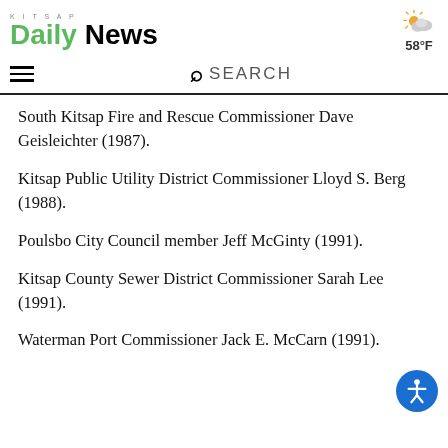Kitsap Daily News — 58°F
South Kitsap Fire and Rescue Commissioner Dave Geisleichter (1987).
Kitsap Public Utility District Commissioner Lloyd S. Berg (1988).
Poulsbo City Council member Jeff McGinty (1991).
Kitsap County Sewer District Commissioner Sarah Lee (1991).
Waterman Port Commissioner Jack E. McCarn (1991).